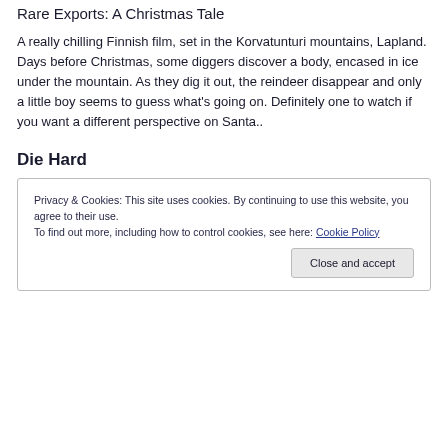Rare Exports: A Christmas Tale
A really chilling Finnish film, set in the Korvatunturi mountains, Lapland. Days before Christmas, some diggers discover a body, encased in ice under the mountain. As they dig it out, the reindeer disappear and only a little boy seems to guess what's going on. Definitely one to watch if you want a different perspective on Santa..
Die Hard
Privacy & Cookies: This site uses cookies. By continuing to use this website, you agree to their use.
To find out more, including how to control cookies, see here: Cookie Policy
[Close and accept]